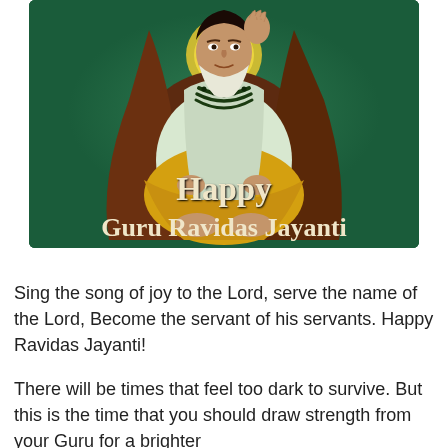[Figure (illustration): Illustration of Guru Ravidas seated cross-legged in a meditative pose on a dark green background, wearing white and yellow robes with dark shawl and bead necklace, with a yellow halo behind him. Text below reads 'Happy Guru Ravidas Jayanti' in bold serif font.]
Sing the song of joy to the Lord, serve the name of the Lord, Become the servant of his servants. Happy Ravidas Jayanti!
There will be times that feel too dark to survive. But this is the time that you should draw strength from your Guru for a brighter